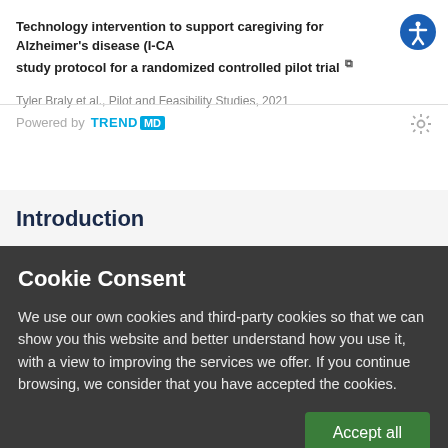Technology intervention to support caregiving for Alzheimer's disease (I-CARE): study protocol for a randomized controlled pilot trial
Tyler Braly et al., Pilot and Feasibility Studies, 2021
[Figure (logo): TrendMD logo with 'Powered by' text and gear settings icon]
Introduction
Cookie Consent
We use our own cookies and third-party cookies so that we can show you this website and better understand how you use it, with a view to improving the services we offer. If you continue browsing, we consider that you have accepted the cookies.